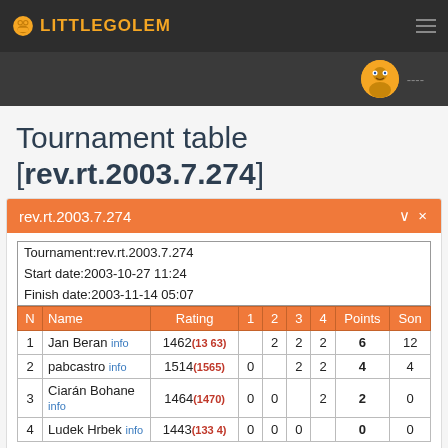LITTLEGOLEM
Tournament table [rev.rt.2003.7.274]
| N | Name | Rating | 1 | 2 | 3 | 4 | Points | Son |
| --- | --- | --- | --- | --- | --- | --- | --- | --- |
| 1 | Jan Beran info | 1462 (1363) |  | 2 | 2 | 2 | 6 | 12 |
| 2 | pabcastro info | 1514 (1565) | 0 |  | 2 | 2 | 4 | 4 |
| 3 | Ciarán Bohane info | 1464 (1470) | 0 | 0 |  | 2 | 2 | 0 |
| 4 | Ludek Hrbek info | 1443 (1334) | 0 | 0 | 0 |  | 0 | 0 |